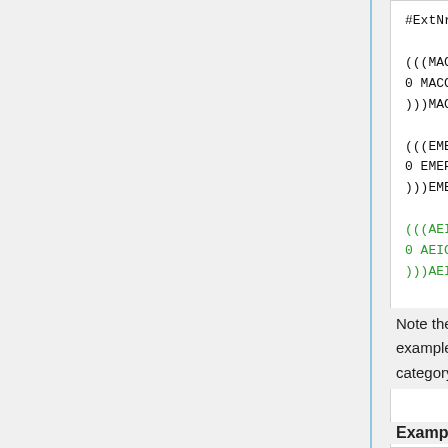[Figure (screenshot): Code block showing emission configuration with MACCITY, EMEP, and AEIC sections. Header line: #ExtNr Name srcFile srcVar src... MACCITY block: (((MACCITY / 0 MACCITY_CO $ROOT/MACCity.nc C... / )))MACCITY. EMEP block: (((EMEP / 0 EMEP_CO $ROOT/EMEP.nc C... / )))EMEP. AEIC block in green: (((AEIC / 0 AEIC_CO $ROOT/AEIC.nc C... / )))AEIC. END SECTION BASE EMISSIONS.]
Note the change in the emission category (column Cat). In this example, category 1 represents anthropogenic emissions and category 2 represents aircraft emissions.
Example 4: Adding biomass